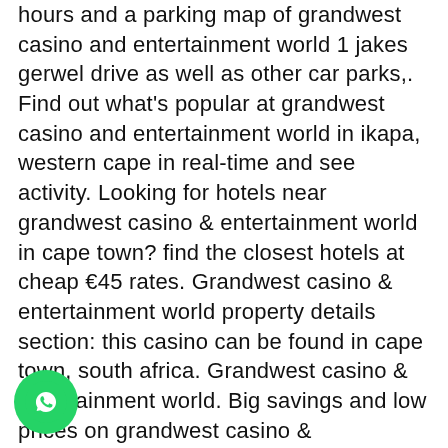hours and a parking map of grandwest casino and entertainment world 1 jakes gerwel drive as well as other car parks,. Find out what's popular at grandwest casino and entertainment world in ikapa, western cape in real-time and see activity. Looking for hotels near grandwest casino & entertainment world in cape town? find the closest hotels at cheap €45 rates. Grandwest casino & entertainment world property details section: this casino can be found in cape town, south africa. Grandwest casino & entertainment world. Big savings and low prices on grandwest casino & entertainment world, cape town, south africa. Grandwest casino and entertainment world, №51 среди клубов кейптаун: ❤ 25108 отзывов и 21 фотография. Grandwest casino and entertainment world is located at: 1 jakes gerwel dr, goodwood, cape town, 7460, south africa. What is the phone number of grandwest. The ice station grandwest casino and entertainment world. Ice skating rink in acacia park. Grand west casino, 1 jakes gerwel drive, acacia park, cape town. On and investing in its iconic sun
[Figure (logo): WhatsApp icon button — green circle with white phone handset SVG]